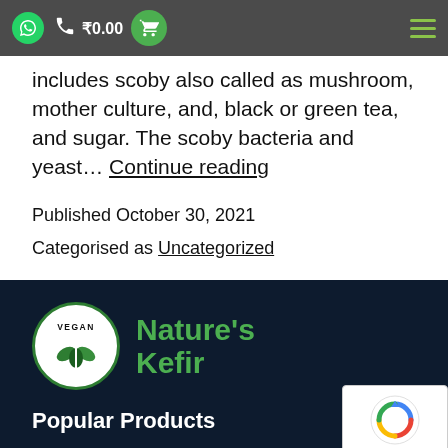₹0.00 navigation bar with WhatsApp, phone, cart, and hamburger menu icons
includes scoby also called as mushroom, mother culture, and, black or green tea, and sugar. The scoby bacteria and yeast… Continue reading
Published October 30, 2021
Categorised as Uncategorized
[Figure (logo): Nature's Kefir vegan logo: white circle with green border, VEGAN text, green leaves, and green 'Nature's Kefir' brand name text]
Popular Products
Milk Kefir Grains (30 grams)